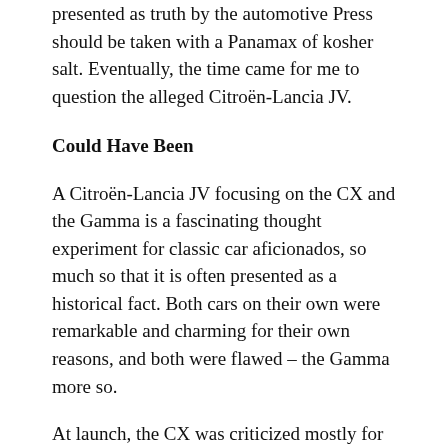presented as truth by the automotive Press should be taken with a Panamax of kosher salt. Eventually, the time came for me to question the alleged Citroën-Lancia JV.
Could Have Been
A Citroën-Lancia JV focusing on the CX and the Gamma is a fascinating thought experiment for classic car aficionados, so much so that it is often presented as a historical fact. Both cars on their own were remarkable and charming for their own reasons, and both were flawed – the Gamma more so.
At launch, the CX was criticized mostly for its underpowered base engine, which also wasn't exactly the last word in smoothness. The Gamma